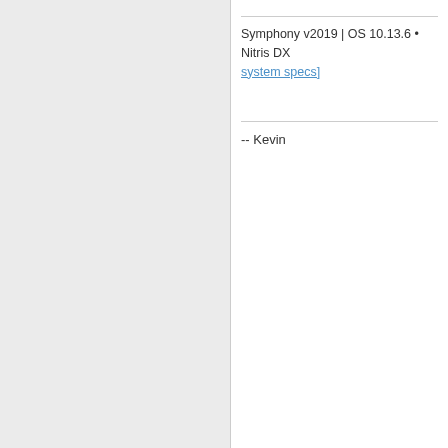Symphony v2019 | OS 10.13.6 • Nitris DX [system specs]
-- Kevin
Mon, Oct 8 2018 6:35 PM
gstrudler
Joined on Thu, Oct 13 2005
Portland, OR
Posts 52
Points 650
Re: Media Composer 2018.9 -
Kevin Klimek:
We are using the Nirtis DX with the la...
Are you including the DX driver when... included.
Yes, manually checking the DX driver inst... Mac Pro (no longer officially supported) w...